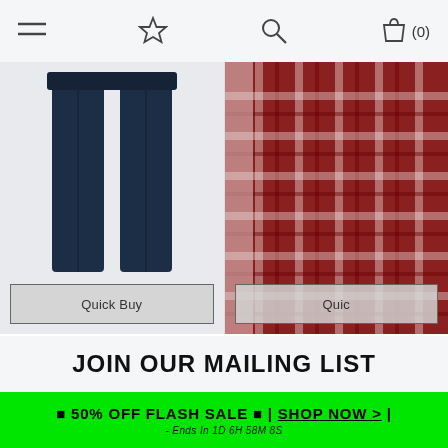Navigation bar with menu, wishlist, search, and cart (0) icons
[Figure (photo): Navy lounge trousers product photo with Quick Buy button overlay]
TUDOR 2PC LONG SLEEVE COTTON LOUNGE SET IN DENIM MARL / SKY CAPTAIN NAVY - TOKYO LAUNDRY
£19.99
[Figure (photo): Red checked shirt product photo with Quick Buy button overlay (partially visible)]
DECIDUOUS CHECKED SHIRT IN SUN-DRIED LAUN...
£14...
JOIN OUR MAILING LIST
🔴 50% OFF FLASH SALE 🔴 | SHOP NOW > | - Ends In 1D 6H 58M 8S